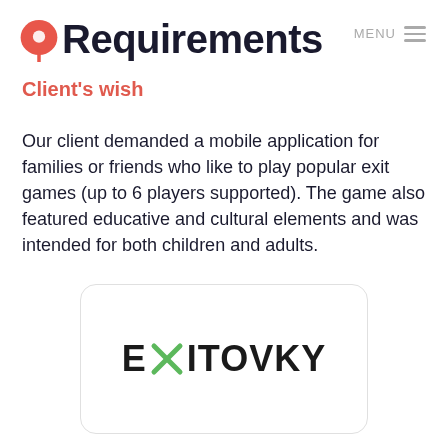Requirements
Client's wish
Our client demanded a mobile application for families or friends who like to play popular exit games (up to 6 players supported). The game also featured educative and cultural elements and was intended for both children and adults.
[Figure (logo): EXITOVKY logo — bold black text with a green X symbol in place of the letter X]